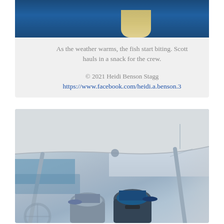[Figure (photo): Top portion of a photo showing a person on a boat over blue ocean water, partially cropped at the top of the page]
As the weather warms, the fish start biting. Scott hauls in a snack for the crew.
© 2021 Heidi Benson Stagg
https://www.facebook.com/heidi.a.benson.3
[Figure (photo): Two people wearing caps sitting in the cockpit of a sailboat under a bimini top, with water and another boat visible in the background]